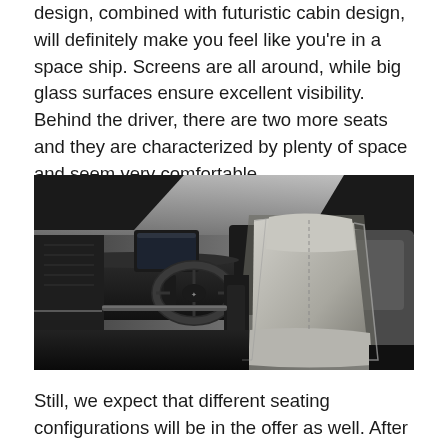design, combined with futuristic cabin design, will definitely make you feel like you're in a space ship. Screens are all around, while big glass surfaces ensure excellent visibility. Behind the driver, there are two more seats and they are characterized by plenty of space and seem very comfortable.
[Figure (photo): Interior of a futuristic concept car showing a grey leather driver's seat, a steering wheel with a logo, digital screens on the dashboard, dark trim, and a panoramic glass roof.]
Still, we expect that different seating configurations will be in the offer as well. After all, we've already been